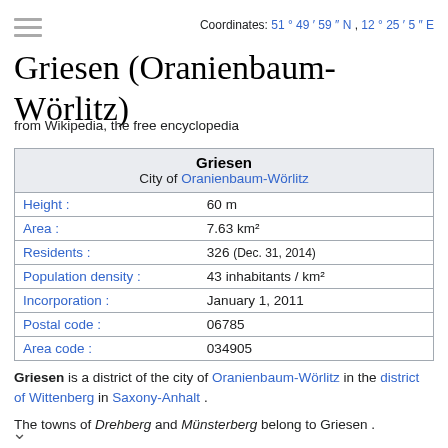Coordinates: 51°49′59″N, 12°25′5″E
Griesen (Oranienbaum-Wörlitz)
from Wikipedia, the free encyclopedia
| Griesen |  |
| --- | --- |
| City of Oranienbaum-Wörlitz |  |
| Height : | 60 m |
| Area : | 7.63 km² |
| Residents : | 326  (Dec. 31, 2014) |
| Population density : | 43 inhabitants / km² |
| Incorporation : | January 1, 2011 |
| Postal code : | 06785 |
| Area code : | 034905 |
Griesen is a district of the city of Oranienbaum-Wörlitz in the district of Wittenberg in Saxony-Anhalt .
The towns of Drehberg and Münsterberg belong to Griesen .